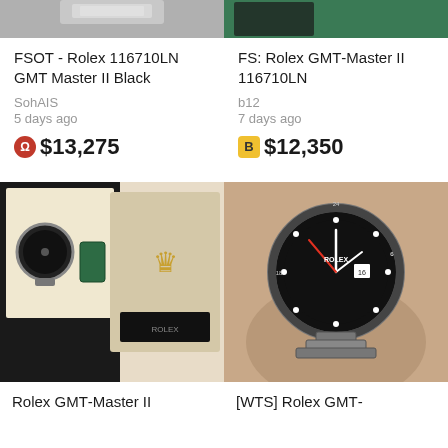[Figure (photo): Top cropped image of a watch/bracelet on gray background]
[Figure (photo): Top cropped image of a watch box with green background]
FSOT - Rolex 116710LN GMT Master II Black
SohAIS
5 days ago
$13,275
FS: Rolex GMT-Master II 116710LN
b12
7 days ago
$12,350
[Figure (photo): Rolex GMT-Master II watch with box and papers on cream background]
[Figure (photo): Close up of Rolex GMT-Master II black dial watch held in hand]
Rolex GMT-Master II
[WTS] Rolex GMT-